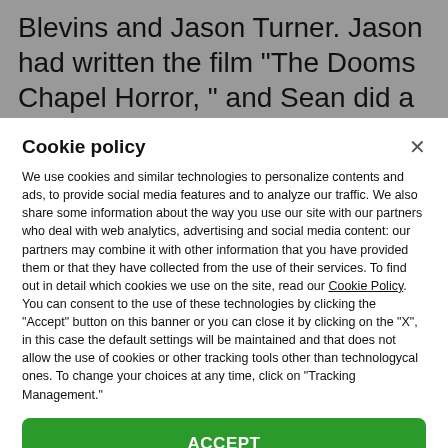Blevins and Jason Turner. Jason had written the film “The Dooms Chapel Horror, ” and Sean did a
Cookie policy
We use cookies and similar technologies to personalize contents and ads, to provide social media features and to analyze our traffic. We also share some information about the way you use our site with our partners who deal with web analytics, advertising and social media content: our partners may combine it with other information that you have provided them or that they have collected from the use of their services. To find out in detail which cookies we use on the site, read our Cookie Policy. You can consent to the use of these technologies by clicking the “Accept” button on this banner or you can close it by clicking on the “X”, in this case the default settings will be maintained and that does not allow the use of cookies or other tracking tools other than technologycal ones. To change your choices at any time, click on “Tracking Management.”
ACCEPT
TRACKERS MANAGEMENT
Show vendors | Show purposes